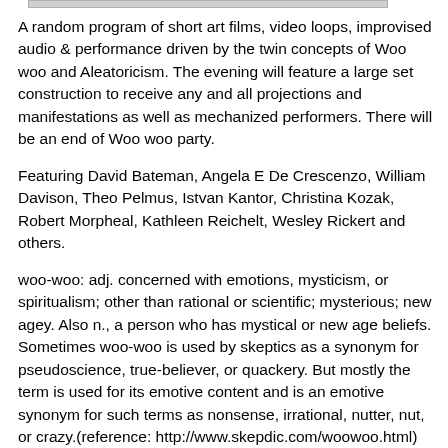A random program of short art films, video loops, improvised audio & performance driven by the twin concepts of Woo woo and Aleatoricism. The evening will feature a large set construction to receive any and all projections and manifestations as well as mechanized performers. There will be an end of Woo woo party.
Featuring David Bateman, Angela E De Crescenzo, William Davison, Theo Pelmus, Istvan Kantor, Christina Kozak, Robert Morpheal, Kathleen Reichelt, Wesley Rickert and others.
woo-woo: adj. concerned with emotions, mysticism, or spiritualism; other than rational or scientific; mysterious; new agey. Also n., a person who has mystical or new age beliefs. Sometimes woo-woo is used by skeptics as a synonym for pseudoscience, true-believer, or quackery. But mostly the term is used for its emotive content and is an emotive synonym for such terms as nonsense, irrational, nutter, nut, or crazy.(reference: http://www.skepdic.com/woowoo.html)